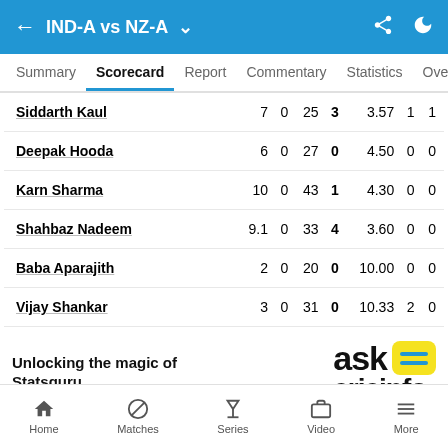IND-A vs NZ-A
Summary  Scorecard  Report  Commentary  Statistics  Over
| Player | O | M | R | W | Econ |  |  |
| --- | --- | --- | --- | --- | --- | --- | --- |
| Siddarth Kaul | 7 | 0 | 25 | 3 | 3.57 | 1 | 1 |
| Deepak Hooda | 6 | 0 | 27 | 0 | 4.50 | 0 | 0 |
| Karn Sharma | 10 | 0 | 43 | 1 | 4.30 | 0 | 0 |
| Shahbaz Nadeem | 9.1 | 0 | 33 | 4 | 3.60 | 0 | 0 |
| Baba Aparajith | 2 | 0 | 20 | 0 | 10.00 | 0 | 0 |
| Vijay Shankar | 3 | 0 | 31 | 0 | 10.33 | 2 | 0 |
Unlocking the magic of Statsguru
[Figure (logo): ask cricinfo logo - black text 'ask' with yellow speech bubble icon containing blue lines, and 'cricinfo' below]
Home  Matches  Series  Video  More